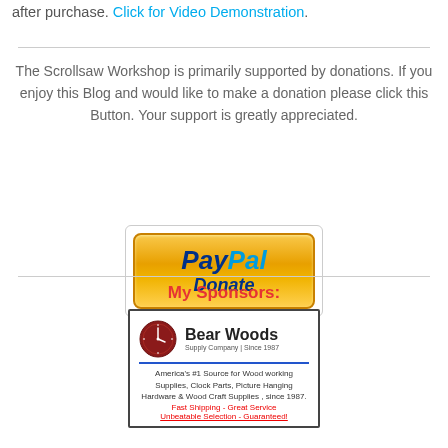after purchase. Click for Video Demonstration.
The Scrollsaw Workshop is primarily supported by donations. If you enjoy this Blog and would like to make a donation please click this Button. Your support is greatly appreciated.
[Figure (other): PayPal Donate button - orange gradient button with PayPal logo and Donate text]
My Sponsors:
[Figure (logo): Bear Woods Supply Company advertisement - Since 1987. America's #1 Source for Wood working Supplies, Clock Parts, Picture Hanging Hardware & Wood Craft Supplies, since 1987. Fast Shipping - Great Service. Unbeatable Selection - Guaranteed!]